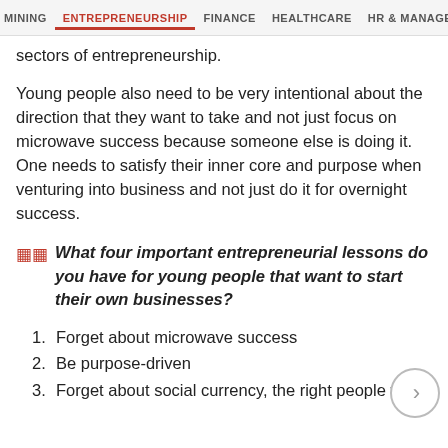MINING  ENTREPRENEURSHIP  FINANCE  HEALTHCARE  HR & MANAGE
sectors of entrepreneurship.
Young people also need to be very intentional about the direction that they want to take and not just focus on microwave success because someone else is doing it. One needs to satisfy their inner core and purpose when venturing into business and not just do it for overnight success.
What four important entrepreneurial lessons do you have for young people that want to start their own businesses?
1. Forget about microwave success
2. Be purpose-driven
3. Forget about social currency, the right people w…